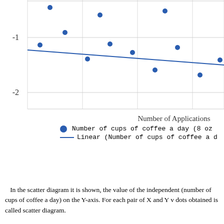[Figure (continuous-plot): Bottom portion of a scatter plot with linear trendline. Y-axis shows values -1 and -2. X-axis label reads 'Number of Applications'. Legend shows blue dot for 'Number of cups of coffee a day (8 oz' and blue line for 'Linear (Number of cups of coffee a d'.]
In the scatter diagram it is shown, the value of the independent (number of cups of coffee a day) on the Y-axis. For each pair of X and Y v dots obtained is called scatter diagram.